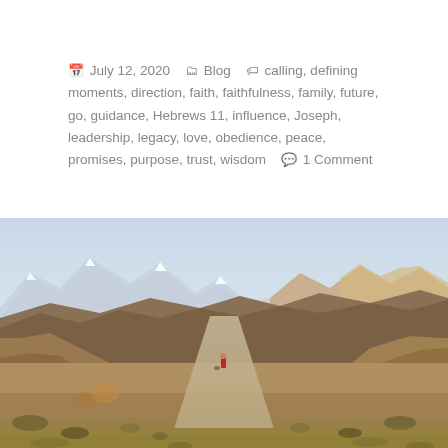📅 July 12, 2020   🗂 Blog   🏷 calling, defining moments, direction, faith, faithfulness, family, future, go, guidance, Hebrews 11, influence, Joseph, leadership, legacy, love, obedience, peace, promises, purpose, trust, wisdom   💬 1 Comment
[Figure (photo): Landscape photo of a desert road winding through rocky terrain with snow-capped mountains in the background under a pale blue sky. A lone figure in red stands on the road in the distance.]